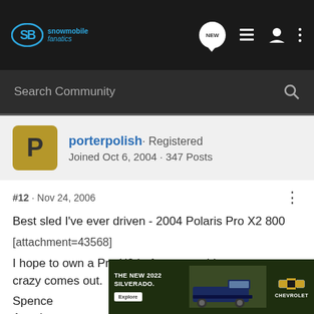Snowmobile Fanatics - Navigation bar with logo, NEW button, list icon, user icon, more options icon
Search Community
porterpolish · Registered
Joined Oct 6, 2004 · 347 Posts
#12 · Nov 24, 2006
Best sled I've ever driven - 2004 Polaris Pro X2 800
[attachment=43568]
I hope to own a Pro X2 before something even more crazy comes out.
Spence
Attach
[Figure (screenshot): Chevrolet advertisement banner for THE NEW 2022 SILVERADO. with Explore button and Chevrolet logo, showing truck in outdoor setting]